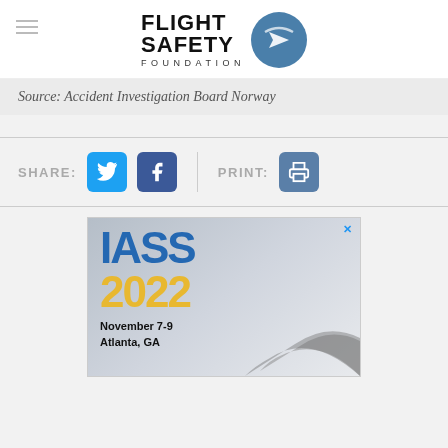[Figure (logo): Flight Safety Foundation logo with circular emblem and text FLIGHT SAFETY FOUNDATION]
Source: Accident Investigation Board Norway
SHARE:  [Twitter button]  [Facebook button]  |  PRINT:  [Print button]
[Figure (screenshot): IASS 2022 advertisement: November 7-9, Atlanta, GA with airplane image]